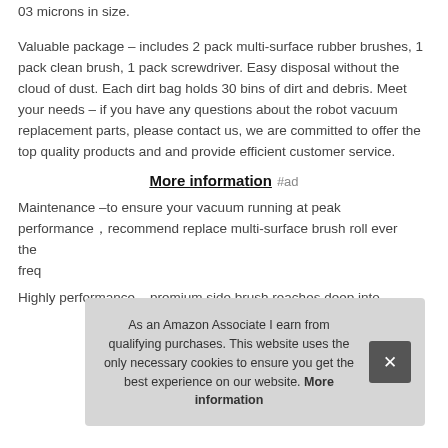03 microns in size.
Valuable package – includes 2 pack multi-surface rubber brushes, 1 pack clean brush, 1 pack screwdriver. Easy disposal without the cloud of dust. Each dirt bag holds 30 bins of dirt and debris. Meet your needs – if you have any questions about the robot vacuum replacement parts, please contact us, we are committed to offer the top quality products and and provide efficient customer service.
More information #ad
Maintenance –to ensure your vacuum running at peak performance，recommend replace multi-surface brush roll ever the freq
Highly performance – premium side brush reaches deep into
As an Amazon Associate I earn from qualifying purchases. This website uses the only necessary cookies to ensure you get the best experience on our website. More information